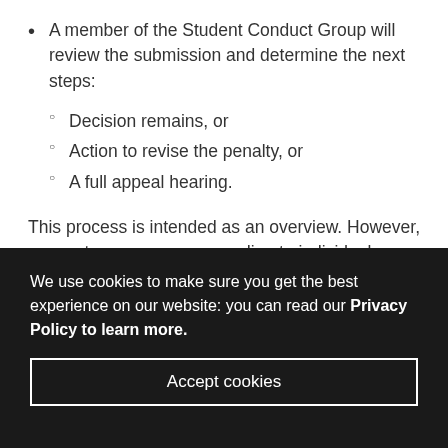A member of the Student Conduct Group will review the submission and determine the next steps:
Decision remains, or
Action to revise the penalty, or
A full appeal hearing.
This process is intended as an overview. However, some steps may vary according to individual cases.
We use cookies to make sure you get the best experience on our website: you can read our Privacy Policy to learn more.
Accept cookies